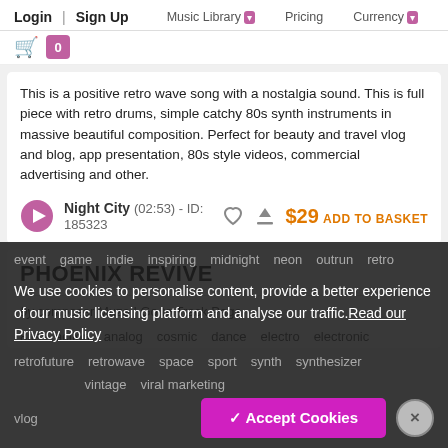Login | Sign Up   Music Library   Pricing   Currency
This is a positive retro wave song with a nostalgia sound. This is full piece with retro drums, simple catchy 80s synth instruments in massive beautiful composition. Perfect for beauty and travel vlog and blog, app presentation, 80s style videos, commercial advertising and other.
Night City (02:53) - ID: 185323   $29 ADD TO BASKET
PHOENIX REVIVE
by composer Muza | Go to Track Page
80s   action   analog   cosmic   dance   electro   electronic
event   game   indie   inspiring   midnight   neon   outrun   retro
retrofuture   retrowave   space   sport   synth   synthesizer
vintage   viral marketing
vlog
We use cookies to personalise content, provide a better experience of our music licensing platform and analyse our traffic. Read our Privacy Policy
✓ Accept Cookies